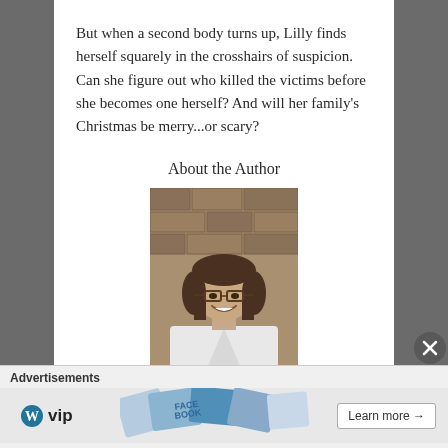But when a second body turns up, Lilly finds herself squarely in the crosshairs of suspicion. Can she figure out who killed the victims before she becomes one herself? And will her family's Christmas be merry...or scary?
About the Author
[Figure (photo): Author photo: A woman with shoulder-length brown hair and glasses, smiling, wearing a white V-neck top, standing in front of a stone wall background.]
Advertisements
[Figure (screenshot): WordPress VIP advertisement banner with logo, colorful card mosaic background, and Learn more button with arrow.]